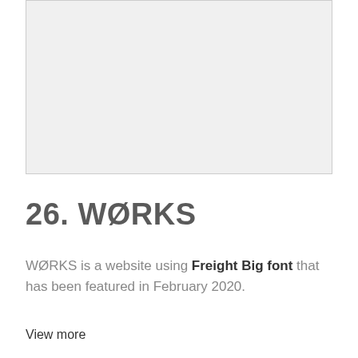[Figure (other): Light gray rectangular placeholder image area with a thin border]
26. WØRKS
WØRKS is a website using Freight Big font that has been featured in February 2020.
View more